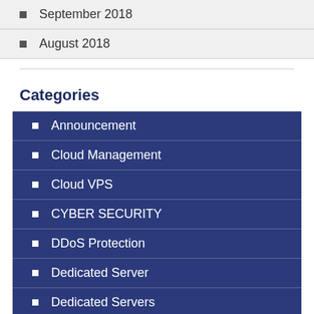September 2018
August 2018
Categories
Announcement
Cloud Management
Cloud VPS
CYBER SECURITY
DDoS Protection
Dedicated Server
Dedicated Servers
E-commerce hosting
Ecommerce